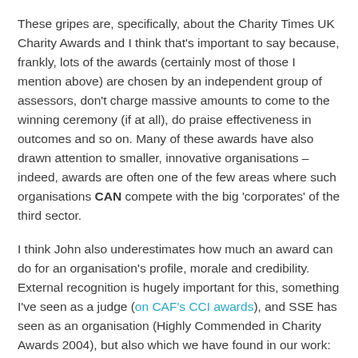These gripes are, specifically, about the Charity Times UK Charity Awards and I think that's important to say because, frankly, lots of the awards (certainly most of those I mention above) are chosen by an independent group of assessors, don't charge massive amounts to come to the winning ceremony (if at all), do praise effectiveness in outcomes and so on. Many of these awards have also drawn attention to smaller, innovative organisations – indeed, awards are often one of the few areas where such organisations CAN compete with the big 'corporates' of the third sector.
I think John also underestimates how much an award can do for an organisation's profile, morale and credibility. External recognition is hugely important for this, something I've seen as a judge (on CAF's CCI awards), and SSE has seen as an organisation (Highly Commended in Charity Awards 2004), but also which we have found in our work: recognition and celebration are key for raising social entrepreneurs' confidence, their credibility as a leader of an effective organisation, and an understanding of their own value (and the value of their work). When this is recognised at our Fellowship events by politicians and stakeholders, by the praise of funders or investors, or by their own peers, the effects are substantial.